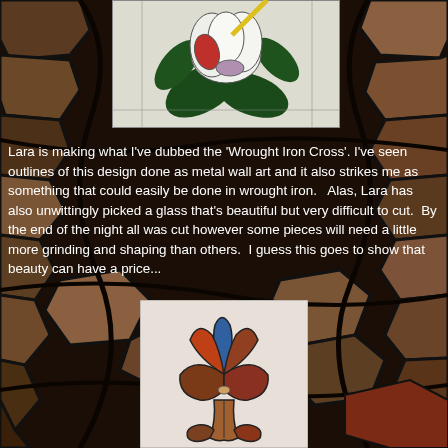[Figure (illustration): A stained glass pattern sketch of a magnolia flower with dark green leaves, white petals, a red accent petal, and a purple/mauve center, with a yellow pencil or tool visible at top. Drawn on grid paper background.]
Lara is making what I've dubbed the 'Wrought Iron Cross'. I've seen outlines of this design done as metal wall art and it also strikes me as something that could easily be done in wrought iron.   Alas, Lara has also unwittingly picked a glass that's beautiful but very difficult to cut.  By the end of the night all was cut however some pieces will need a little more grinding and shaping than others.  I guess this goes to show that beauty can have a price...
[Figure (illustration): A colorful stained glass fleur-de-lis design made from multicolored glass pieces including blue, red, brown, and orange tones, photographed against a light background.]